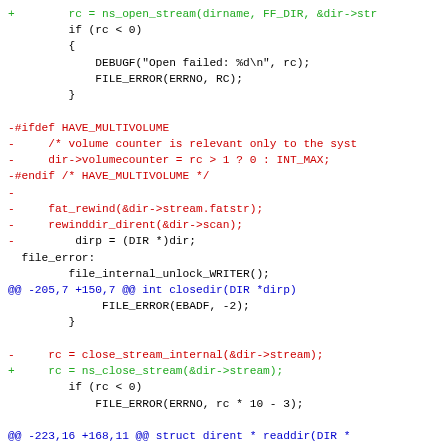Code diff showing changes to directory stream functions including ns_open_stream, HAVE_MULTIVOLUME, fat_rewind, rewinddir_dirent, closedir, close_stream_internal, ns_close_stream, and readdir